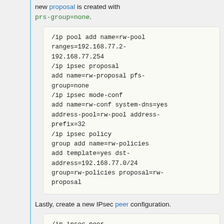new proposal is created with prs-group=none.
/ip pool add name=rw-pool ranges=192.168.77.2-192.168.77.254
/ip ipsec proposal add name=rw-proposal pfs-group=none
/ip ipsec mode-conf add name=rw-conf system-dns=yes address-pool=rw-pool address-prefix=32
/ip ipsec policy group add name=rw-policies
add template=yes dst-address=192.168.77.0/24 group=rw-policies proposal=rw-proposal
Lastly, create a new IPsec peer configuration.
/ip ipsec peer
add auth-method=rsa-signature certificate=server1 generate-